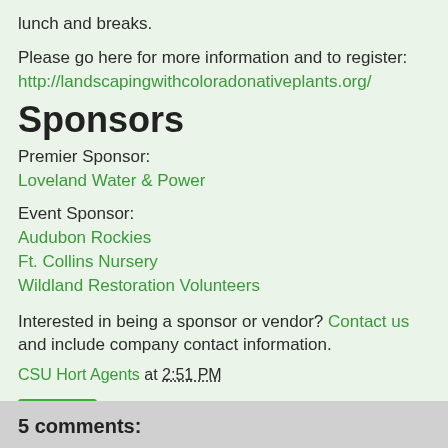lunch and breaks.
Please go here for more information and to register:
http://landscapingwithcoloradonativeplants.org/
Sponsors
Premier Sponsor:
Loveland Water & Power
Event Sponsor:
Audubon Rockies
Ft. Collins Nursery
Wildland Restoration Volunteers
Interested in being a sponsor or vendor? Contact us and include company contact information.
CSU Hort Agents at 2:51 PM
Share
5 comments: